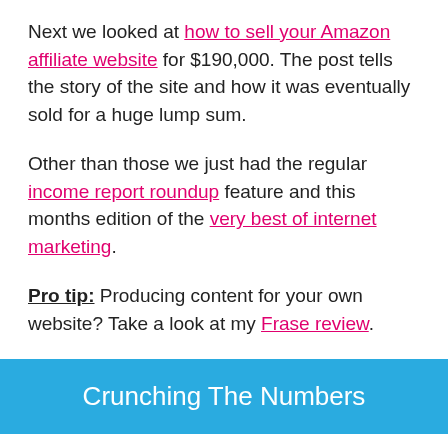Next we looked at how to sell your Amazon affiliate website for $190,000. The post tells the story of the site and how it was eventually sold for a huge lump sum.
Other than those we just had the regular income report roundup feature and this months edition of the very best of internet marketing.
Pro tip: Producing content for your own website? Take a look at my Frase review.
Crunching The Numbers
So let's get our hands dirty and take a look at what my lack of attention to the blog has done